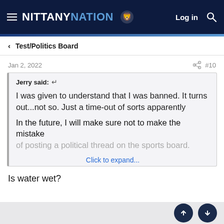NITTANY NATION — Log in [search]
< Test/Politics Board
Jan 2, 2022   #10
Jerry said: ↩

I was given to understand that I was banned. It turns out...not so. Just a time-out of sorts apparently

In the future, I will make sure not to make the mistake of posting a political thread on the sports board.

Click to expand...
Is water wet?